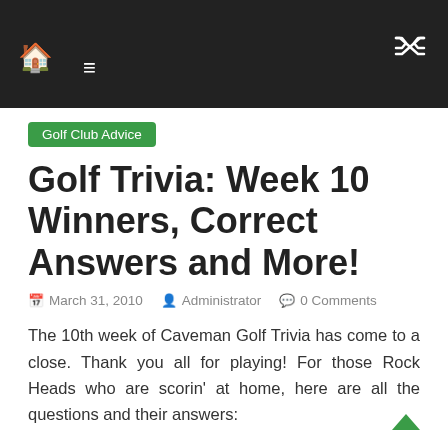Golf Club Advice
Golf Trivia: Week 10 Winners, Correct Answers and More!
March 31, 2010   Administrator   0 Comments
The 10th week of Caveman Golf Trivia has come to a close. Thank you all for playing! For those Rock Heads who are scorin' at home, here are all the questions and their answers:
At what age did Jack Nicklaus first qualify to play in the U.S. Open?
Answer: 17